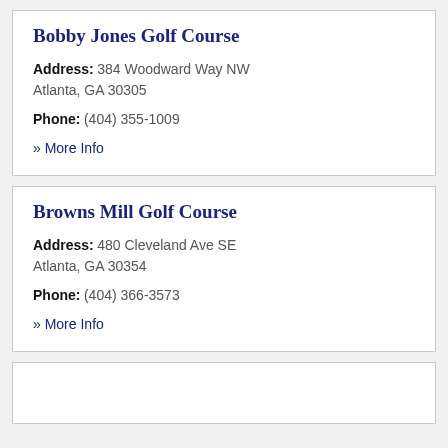Bobby Jones Golf Course
Address: 384 Woodward Way NW
Atlanta, GA 30305
Phone: (404) 355-1009
» More Info
Browns Mill Golf Course
Address: 480 Cleveland Ave SE
Atlanta, GA 30354
Phone: (404) 366-3573
» More Info